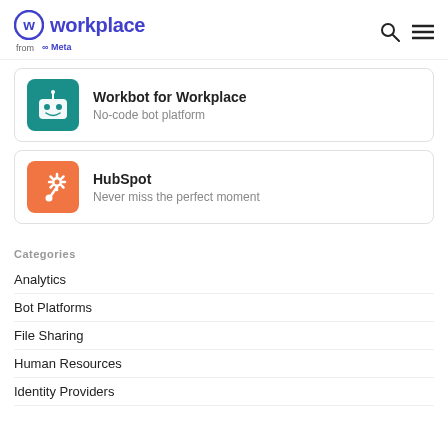workplace from Meta
Workbot for Workplace
No-code bot platform
HubSpot
Never miss the perfect moment
Categories
Analytics
Bot Platforms
File Sharing
Human Resources
Identity Providers